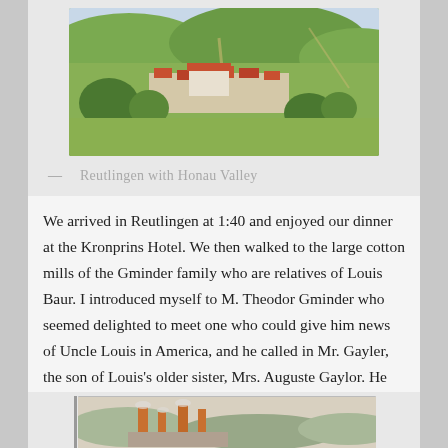[Figure (photo): Aerial/panoramic view of Reutlingen with Honau Valley, showing town buildings with red roofs surrounded by green hills and countryside]
— Reutlingen with Honau Valley
We arrived in Reutlingen at 1:40 and enjoyed our dinner at the Kronprins Hotel. We then walked to the large cotton mills of the Gminder family who are relatives of Louis Baur. I introduced myself to M. Theodor Gminder who seemed delighted to meet one who could give him news of Uncle Louis in America, and he called in Mr. Gayler, the son of Louis's older sister, Mrs. Auguste Gaylor. He told me that he could not possibly show me the town, but that another relative, a Mr. Robert Kocher, would take us around.
[Figure (photo): Partial view of a second illustration, appearing to show an industrial scene with chimneys or smokestacks]